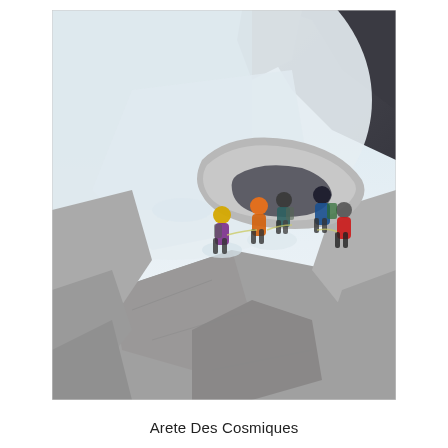[Figure (photo): A group of mountaineers/climbers navigating rocky granite terrain covered partially with snow. The climbers are wearing colorful gear (yellow, orange, purple, red, blue helmets and jackets) with backpacks. They are passing under a large granite rock arch or overhang. In the background is a steep snow-covered slope and dark rocky mountain face.]
Arete Des Cosmiques